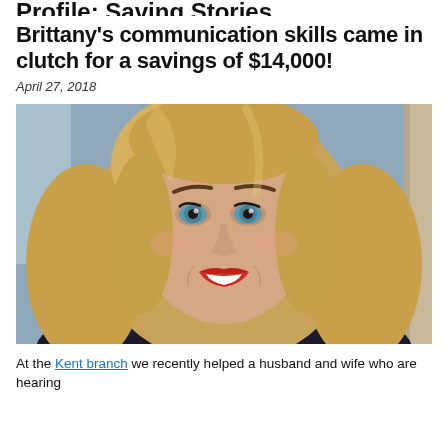Profile: Saving Stories
Brittany's communication skills came in clutch for a savings of $14,000!
April 27, 2018
[Figure (photo): Close-up portrait photo of a smiling blonde woman with blue eyes and red lipstick, against a grey background.]
At the Kent branch we recently helped a husband and wife who are hearing